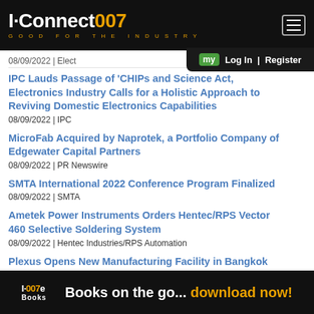I-Connect007 | GOOD FOR THE INDUSTRY
08/09/2022 | Elect
IPC Lauds Passage of 'CHIPs and Science Act, Electronics Industry Calls for a Holistic Approach to Reviving Domestic Electronics Capabilities
08/09/2022 | IPC
MicroFab Acquired by Naprotek, a Portfolio Company of Edgewater Capital Partners
08/09/2022 | PR Newswire
SMTA International 2022 Conference Program Finalized
08/09/2022 | SMTA
Ametek Power Instruments Orders Hentec/RPS Vector 460 Selective Soldering System
08/09/2022 | Hentec Industries/RPS Automation
Plexus Opens New Manufacturing Facility in Bangkok
[Figure (screenshot): I-Connect007 Books ad banner: Books on the go... download now!]